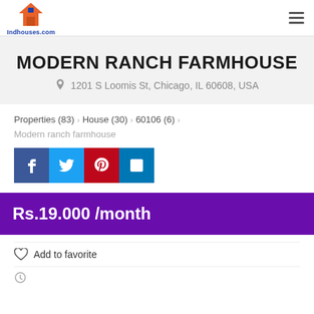Indhouses.com
MODERN RANCH FARMHOUSE
1201 S Loomis St, Chicago, IL 60608, USA
Properties (83) > House (30) > 60106 (6) >
Modern ranch farmhouse
[Figure (other): Social share buttons: Facebook, Twitter, Pinterest, LinkedIn]
Rs.19.000 /month
Add to favorite